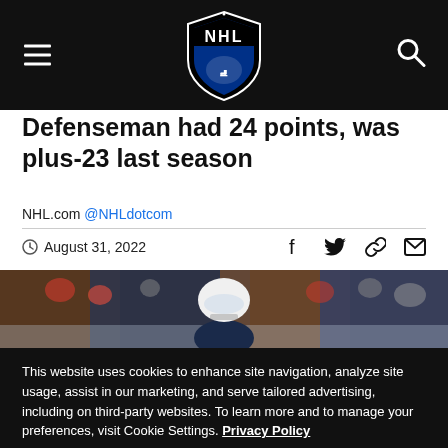NHL.com navigation header with logo and menu/search icons
Defenseman had 24 points, was plus-23 last season
NHL.com @NHLdotcom
August 31, 2022
[Figure (photo): Hockey player in white helmet at the boards with crowd in background]
This website uses cookies to enhance site navigation, analyze site usage, assist in our marketing, and serve tailored advertising, including on third-party websites. To learn more and to manage your preferences, visit Cookie Settings. Privacy Policy
Cookie Settings   Accept All Cookies